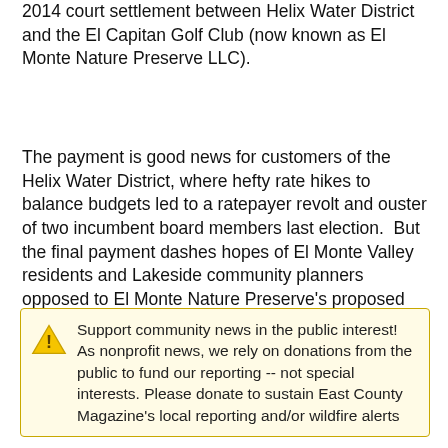2014 court settlement between Helix Water District and the El Capitan Golf Club (now known as El Monte Nature Preserve LLC).
The payment is good news for customers of the Helix Water District, where hefty rate hikes to balance budgets led to a ratepayer revolt and ouster of two incumbent board members last election.  But the final payment dashes hopes of El Monte Valley residents and Lakeside community planners opposed to El Monte Nature Preserve's proposed sand mining operation to extract 18 million tons of sand over 15 years from the El Monte Valley on the site.
Support community news in the public interest! As nonprofit news, we rely on donations from the public to fund our reporting -- not special interests. Please donate to sustain East County Magazine's local reporting and/or wildfire alerts